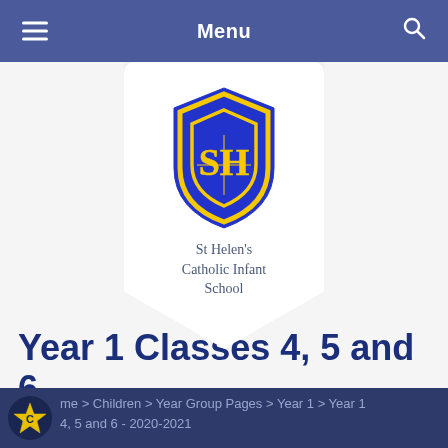Menu
[Figure (logo): St Helen's Catholic Infant School shield logo — blue shield with yellow trim and monogram, with school name below]
Year 1 Classes 4, 5 and 6 - 2020-2021
Home > Children > Year Group Pages > Year 1 > Year 1 4, 5 and 6 - 2020-2021